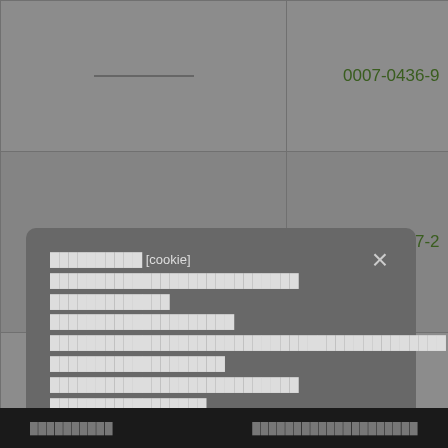|  | Code | Name | Qty | Price |
| --- | --- | --- | --- | --- |
| — | 0007-0436-9 | FHDS20G11/RH | 11,761 | 11.8... |
| — | 0007-0437-2 | FHDS40G11/RH | 7,409 | 20.0... |
| — | ... | ... | ...8 | 7.2... |
Cookie consent dialog with Thai text: [cookie] policy information and accept button